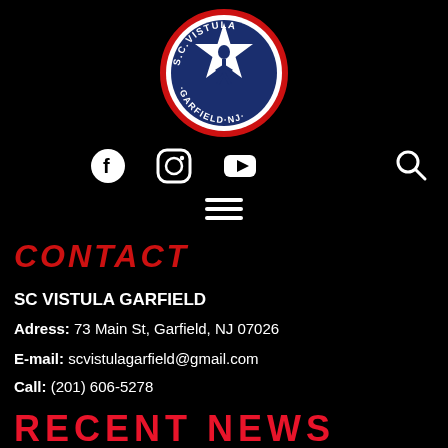[Figure (logo): SC Vistula Garfield NJ soccer club circular logo with red border, blue star, white star overlay, and player silhouette]
[Figure (infographic): Social media icons: Facebook circle, Instagram square, YouTube play button, and search magnifying glass]
[Figure (infographic): Hamburger menu icon with three horizontal white lines]
CONTACT
SC VISTULA GARFIELD
Adress: 73 Main St, Garfield, NJ 07026
E-mail: scvistulagarfield@gmail.com
Call: (201) 606-5278
RECENT NEWS